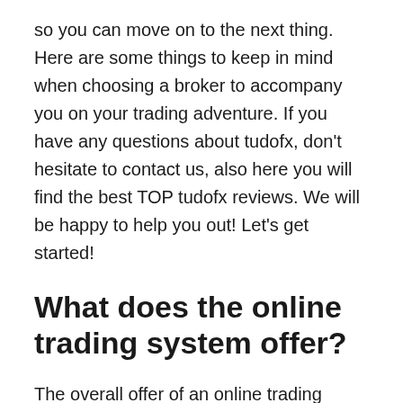so you can move on to the next thing. Here are some things to keep in mind when choosing a broker to accompany you on your trading adventure. If you have any questions about tudofx, don't hesitate to contact us, also here you will find the best TOP tudofx reviews. We will be happy to help you out! Let's get started!
What does the online trading system offer?
The overall offer of an online trading system should suit your trading goals. This means that you should only choose those brokers